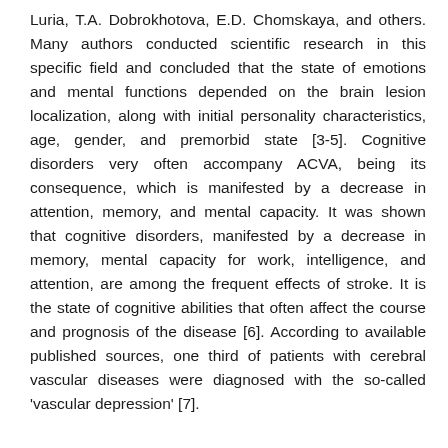Luria, T.A. Dobrokhotova, E.D. Chomskaya, and others. Many authors conducted scientific research in this specific field and concluded that the state of emotions and mental functions depended on the brain lesion localization, along with initial personality characteristics, age, gender, and premorbid state [3-5]. Cognitive disorders very often accompany ACVA, being its consequence, which is manifested by a decrease in attention, memory, and mental capacity. It was shown that cognitive disorders, manifested by a decrease in memory, mental capacity for work, intelligence, and attention, are among the frequent effects of stroke. It is the state of cognitive abilities that often affect the course and prognosis of the disease [6]. According to available published sources, one third of patients with cerebral vascular diseases were diagnosed with the so-called 'vascular depression' [7].